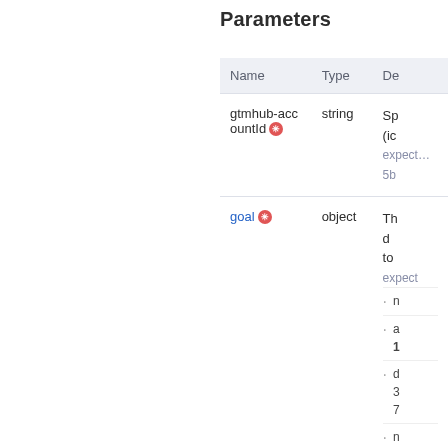Parameters
| Name | Type | De… |
| --- | --- | --- |
| gtmhub-accountId * | string | Sp… (ic… expect… 5b… |
| goal * | object | Th… d… to… expect… n… a… 1… d… 3… 7… n… m… n… |